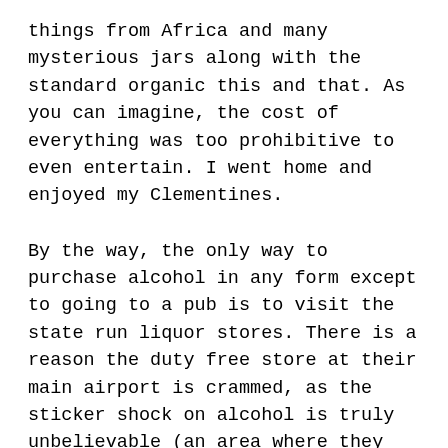things from Africa and many mysterious jars along with the standard organic this and that. As you can imagine, the cost of everything was too prohibitive to even entertain. I went home and enjoyed my Clementines.
By the way, the only way to purchase alcohol in any form except to going to a pub is to visit the state run liquor stores. There is a reason the duty free store at their main airport is crammed, as the sticker shock on alcohol is truly unbelievable (an area where they excel at Value Added Tax). Already the newspaper contains